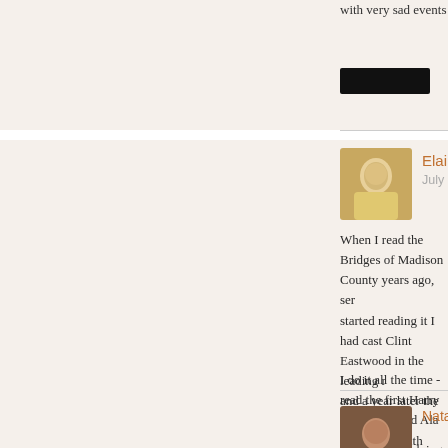with very sad events at times, it is a book that touches on t
[Figure (other): Black redacted button/rectangle]
Elaine
July 9, 2010 at 3:54 AM
When I read the Bridges of Madison County years ago, ser started reading it I had cast Clint Eastwood in the leading r and a year later the casting was announced with those two
I do it all the time - read the first Harry Potter and said Ala
It is great fun doing this!
[Figure (other): Black redacted button/rectangle]
Natalie~Coffee and a Book Chick
July 9, 2010 at 9:49 PM
Elaine, I love it! Of course, sometimes I am so set on some complete opposite and I am bummed! Picking Clint and M